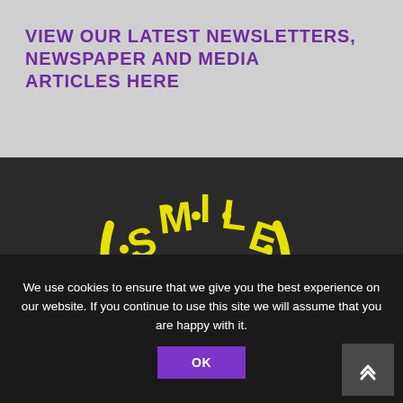VIEW OUR LATEST NEWSLETTERS, NEWSPAPER AND MEDIA ARTICLES HERE
[Figure (logo): SMILE Counselling logo — yellow stylized text 'S.M.I.L.E' arranged in a curved smiley face shape with white dots, and 'Counselling' written in white text along the curved bottom on a dark background]
SCIO: SC046166
We use cookies to ensure that we give you the best experience on our website. If you continue to use this site we will assume that you are happy with it.